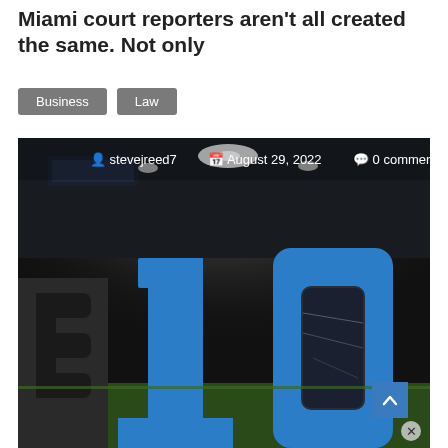Miami court reporters aren't all created the same. Not only
Business   Law
stevejreed7   August 29, 2022   0 comments
[Figure (photo): Large 'BIG' letters (Big Ten conference logo) in blue 3D block letters on a football field or arena floor, photographed from a low angle, with arena lighting visible in the background.]